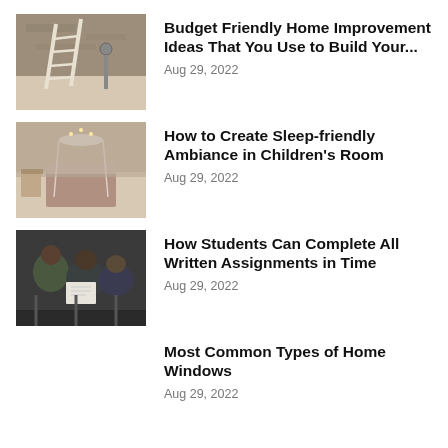[Figure (photo): A ladder leaning against a wall under construction with pipes and rough concrete background]
Budget Friendly Home Improvement Ideas That You Use to Build Your...
Aug 29, 2022
[Figure (photo): A children's bedroom with a canopy bed, soft lighting, and decorative elements creating a sleep-friendly atmosphere]
How to Create Sleep-friendly Ambiance in Children's Room
Aug 29, 2022
[Figure (photo): Students sitting in a lecture hall or classroom, one with a paper/notebook visible]
How Students Can Complete All Written Assignments in Time
Aug 29, 2022
Most Common Types of Home Windows
Aug 29, 2022